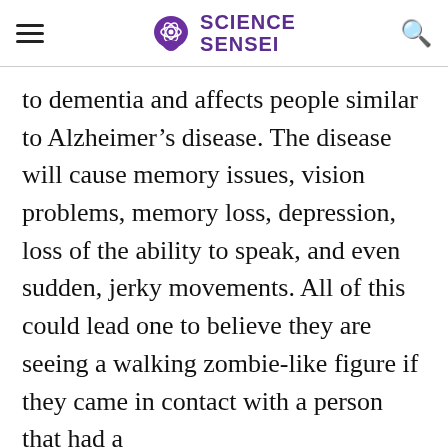SCIENCE SENSEI
to dementia and affects people similar to Alzheimer’s disease. The disease will cause memory issues, vision problems, memory loss, depression, loss of the ability to speak, and even sudden, jerky movements. All of this could lead one to believe they are seeing a walking zombie-like figure if they came in contact with a person that had a
Advertisement
BitLife - Life Simulator
Install!